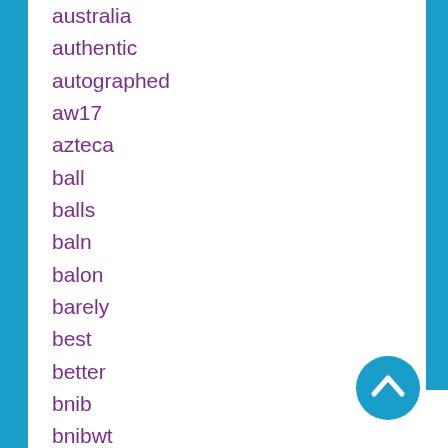australia
authentic
autographed
aw17
azteca
ball
balls
baln
balon
barely
best
better
bnib
bnibwt
boss
boxed
brand
brandi
brands
brazil
brazuca